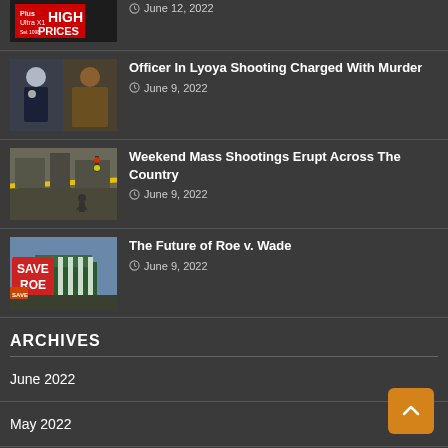[Figure (photo): Partial view of gas price sign showing HIGH PRICES, partially cropped]
June 12, 2022
[Figure (photo): Officer in uniform on left, man in brown jacket on right — Lyoya shooting story thumbnail]
Officer In Lyoya Shooting Charged With Murder
June 9, 2022
[Figure (photo): Crime scene with yellow tape on a street — mass shootings story thumbnail]
Weekend Mass Shootings Erupt Across The Country
June 9, 2022
[Figure (photo): Protesters holding SAVE ROE signs in front of Supreme Court — Roe v. Wade story thumbnail]
The Future of Roe v. Wade
June 9, 2022
ARCHIVES
June 2022
May 2022
April 2022
March 2022